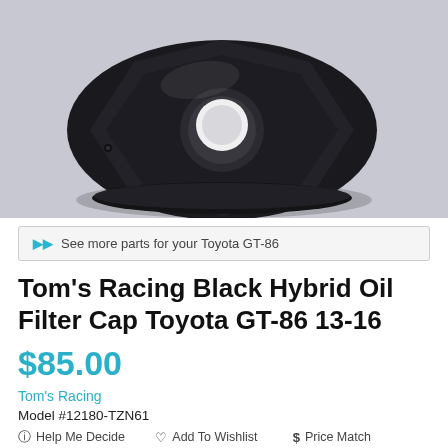[Figure (photo): Black plastic oil filter cap for Toyota GT-86, viewed from above at an angle, showing faceted round cap design with center circle, against a light gray background.]
See more parts for your Toyota GT-86
Tom's Racing Black Hybrid Oil Filter Cap Toyota GT-86 13-16
$85.00
Tom's Racing
Model #12180-TZN61
Help Me Decide   Add To Wishlist   $ Price Match